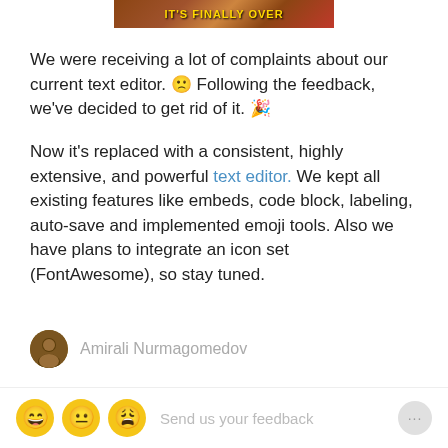[Figure (photo): Partial image at top showing text 'IT'S FINALLY OVER' with dark/brown background]
We were receiving a lot of complaints about our current text editor. 🙁 Following the feedback, we've decided to get rid of it. 🎉
Now it's replaced with a consistent, highly extensive, and powerful text editor. We kept all existing features like embeds, code block, labeling, auto-save and implemented emoji tools. Also we have plans to integrate an icon set (FontAwesome), so stay tuned.
Amirali Nurmagomedov
Send us your feedback